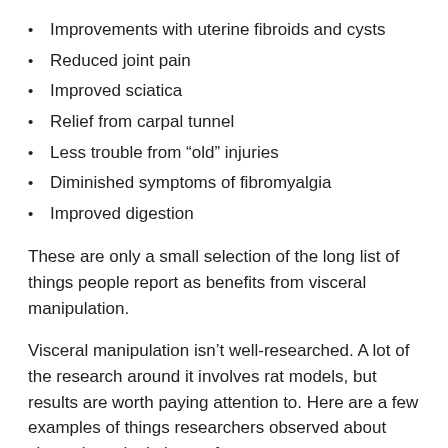Improvements with uterine fibroids and cysts
Reduced joint pain
Improved sciatica
Relief from carpal tunnel
Less trouble from “old” injuries
Diminished symptoms of fibromyalgia
Improved digestion
These are only a small selection of the long list of things people report as benefits from visceral manipulation.
Visceral manipulation isn’t well-researched. A lot of the research around it involves rat models, but results are worth paying attention to. Here are a few examples of things researchers observed about visceral manipulation so far: